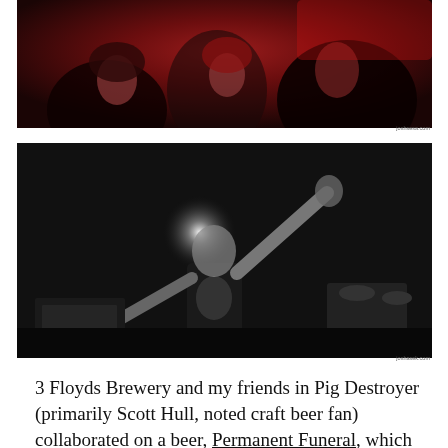[Figure (photo): Concert photo with red lighting showing multiple faces close together, dark and intense atmosphere]
[Figure (photo): Black and white concert photo of a performer with arms outstretched on stage under bright spotlight]
3 Floyds Brewery and my friends in Pig Destroyer (primarily Scott Hull, noted craft beer fan) collaborated on a beer, Permanent Funeral, which rated VERY highly on the various beer